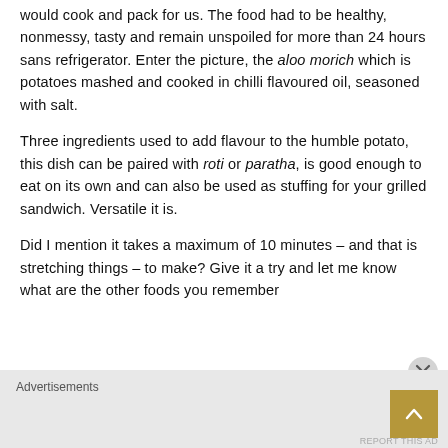would cook and pack for us. The food had to be healthy, nonmessy, tasty and remain unspoiled for more than 24 hours sans refrigerator. Enter the picture, the aloo morich which is potatoes mashed and cooked in chilli flavoured oil, seasoned with salt.
Three ingredients used to add flavour to the humble potato, this dish can be paired with roti or paratha, is good enough to eat on its own and can also be used as stuffing for your grilled sandwich. Versatile it is.
Did I mention it takes a maximum of 10 minutes – and that is stretching things – to make? Give it a try and let me know what are the other foods you remember
Advertisements